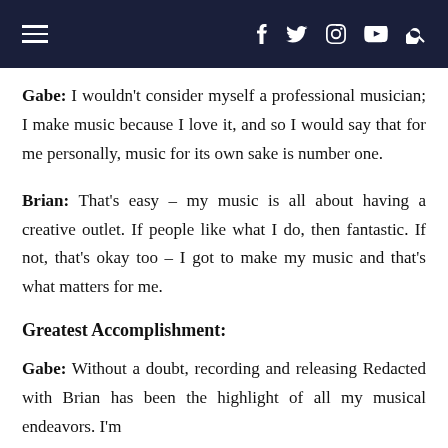≡  f  𝕏  ⊡  ▶  🔍
Gabe: I wouldn't consider myself a professional musician; I make music because I love it, and so I would say that for me personally, music for its own sake is number one.
Brian: That's easy – my music is all about having a creative outlet. If people like what I do, then fantastic. If not, that's okay too – I got to make my music and that's what matters for me.
Greatest Accomplishment:
Gabe: Without a doubt, recording and releasing Redacted with Brian has been the highlight of all my musical endeavors. I'm